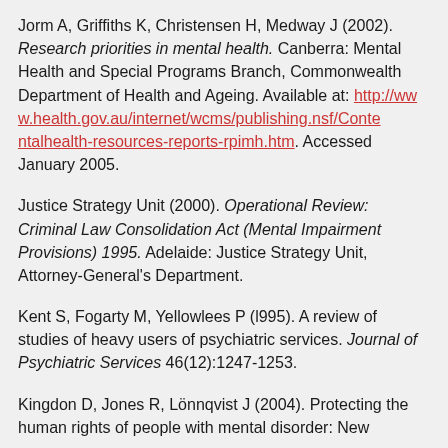Jorm A, Griffiths K, Christensen H, Medway J (2002). Research priorities in mental health. Canberra: Mental Health and Special Programs Branch, Commonwealth Department of Health and Ageing. Available at: http://www.health.gov.au/internet/wcms/publishing.nsf/Content/mentalhealth-resources-reports-rpimh.htm. Accessed January 2005.
Justice Strategy Unit (2000). Operational Review: Criminal Law Consolidation Act (Mental Impairment Provisions) 1995. Adelaide: Justice Strategy Unit, Attorney-General's Department.
Kent S, Fogarty M, Yellowlees P (l995). A review of studies of heavy users of psychiatric services. Journal of Psychiatric Services 46(12):1247-1253.
Kingdon D, Jones R, Lönnqvist J (2004). Protecting the human rights of people with mental disorder: New...